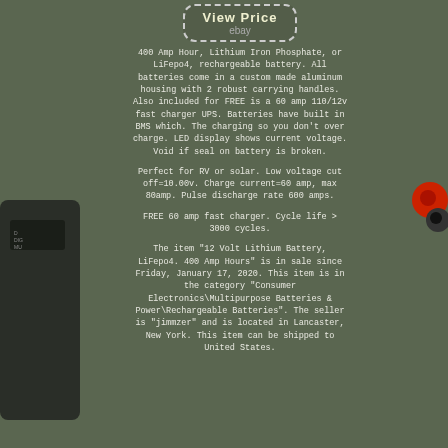[Figure (screenshot): View Price button with eBay branding inside a dashed rounded rectangle]
400 Amp Hour, Lithium Iron Phosphate, or LiFepo4, rechargeable battery. All batteries come in a custom made aluminum housing with 2 robust carrying handles. Also included for FREE is a 60 amp 110/12v fast charger UPS. Batteries have built in BMS which. The charging so you don't over charge. LED display shows current voltage. Void if seal on battery is broken.
Perfect for RV or solar. Low voltage cut off=10.00v. Charge current=60 amp, max 80amp. Pulse discharge rate 600 amps.
FREE 60 amp fast charger. Cycle life > 3000 cycles.
The item "12 Volt Lithium Battery, LiFepo4. 400 Amp Hours" is in sale since Friday, January 17, 2020. This item is in the category "Consumer Electronics\Multipurpose Batteries & Power\Rechargeable Batteries". The seller is "jimmzer" and is located in Lancaster, New York. This item can be shipped to United States.